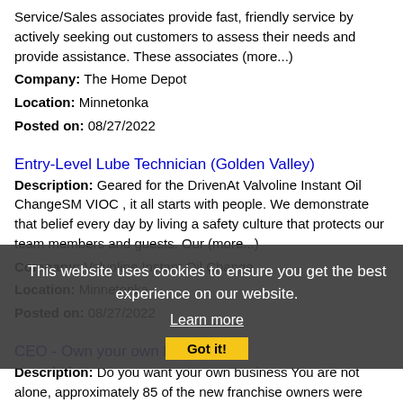Service/Sales associates provide fast, friendly service by actively seeking out customers to assess their needs and provide assistance. These associates (more...)
Company: The Home Depot
Location: Minnetonka
Posted on: 08/27/2022
Entry-Level Lube Technician (Golden Valley)
Description: Geared for the DrivenAt Valvoline Instant Oil ChangeSM VIOC , it all starts with people. We demonstrate that belief every day by living a safety culture that protects our team members and guests. Our (more...)
Company: Valvoline Instant Oil Change
Location: Minnetonka
Posted on: 08/27/2022
CEO - Own your own Franchise
Description: Do you want your own business You are not alone, approximately 85 of the new franchise owners were professionals transitioning out of the corporate grind,
Company: Franchise Career Advisor
Location: Minnetonka
Posted on: 08/27/2022
[Figure (screenshot): Cookie consent banner overlay with dark background reading 'This website uses cookies to ensure you get the best experience on our website.' with a 'Learn more' underlined link and a 'Got it!' button.]